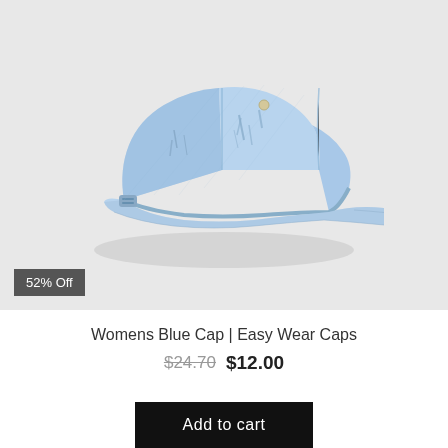[Figure (photo): Light blue distressed denim baseball cap photographed on a white/light grey background. The cap has visible fraying/distress marks on the panels and a curved brim. A small silver button is visible at the crown.]
52% Off
Womens Blue Cap | Easy Wear Caps
$24.70 $12.00
Add to cart